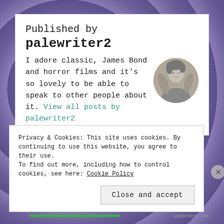Published by
palewriter2
I adore classic, James Bond and horror films and it's so lovely to be able to speak to other people about it. View all posts by palewriter2
[Figure (photo): Circular black and white portrait photo of a woman posing with arms raised]
Privacy & Cookies: This site uses cookies. By continuing to use this website, you agree to their use.
To find out more, including how to control cookies, see here: Cookie Policy
Close and accept